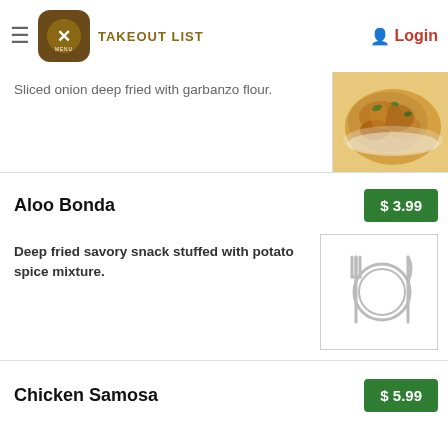TAKEOUT LIST | Login
Sliced onion deep fried with garbanzo flour.
[Figure (photo): Photo of fried onion fritters (pakoda) with garbanzo flour]
Aloo Bonda
$ 3.99
Deep fried savory snack stuffed with potato spice mixture.
[Figure (illustration): Placeholder illustration of a plate with fork and knife]
Chicken Samosa
$ 5.99